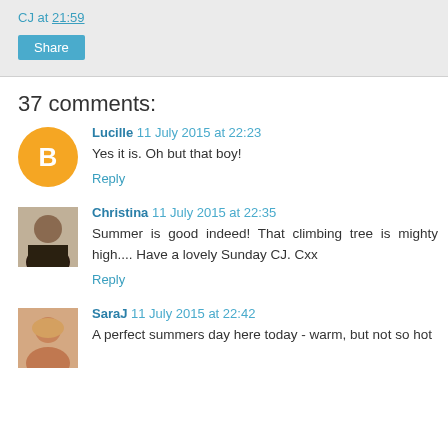CJ at 21:59
Share
37 comments:
Lucille 11 July 2015 at 22:23
Yes it is. Oh but that boy!
Reply
Christina 11 July 2015 at 22:35
Summer is good indeed! That climbing tree is mighty high.... Have a lovely Sunday CJ. Cxx
Reply
SaraJ 11 July 2015 at 22:42
A perfect summers day here today - warm, but not so hot